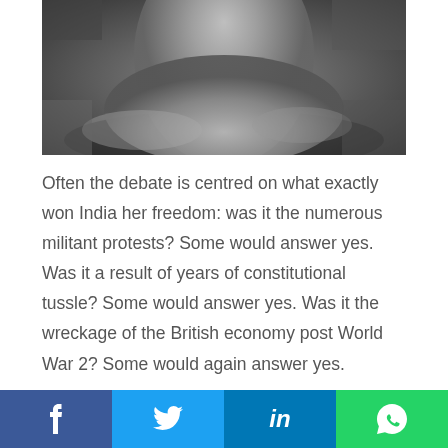[Figure (photo): Black and white photograph of a person, partially cropped, wearing draped clothing, seated or reclining.]
Often the debate is centred on what exactly won India her freedom: was it the numerous militant protests? Some would answer yes. Was it a result of years of constitutional tussle? Some would answer yes. Was it the wreckage of the British economy post World War 2? Some would again answer yes.
Social share bar with Facebook, Twitter, LinkedIn, WhatsApp buttons